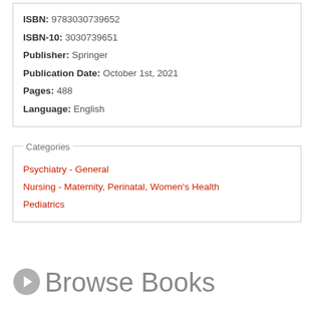ISBN: 9783030739652
ISBN-10: 3030739651
Publisher: Springer
Publication Date: October 1st, 2021
Pages: 488
Language: English
Categories
Psychiatry - General
Nursing - Maternity, Perinatal, Women's Health
Pediatrics
Browse Books